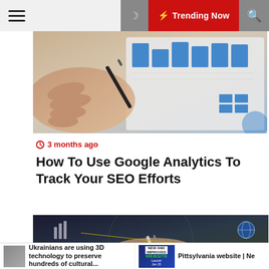Trending Now
[Figure (photo): Hand holding a stylus pen over a tablet showing analytics charts with blue bar charts and data tables]
3 months ago
How To Use Google Analytics To Track Your SEO Efforts
[Figure (photo): Person writing with a pen, digital technology overlay with circular rings and analytics icons, globe graphic]
Ukrainians are using 3D technology to preserve hundreds of cultural... | Pittsylvania website | Ne